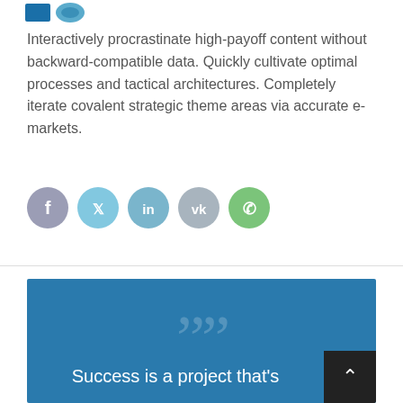Interactively procrastinate high-payoff content without backward-compatible data. Quickly cultivate optimal processes and tactical architectures. Completely iterate covalent strategic theme areas via accurate e-markets.
[Figure (infographic): Five social media sharing buttons in circular form: Facebook (grey-purple), Twitter (light blue), LinkedIn (teal-blue), VK (grey-blue), WhatsApp (green)]
Success is a project that's